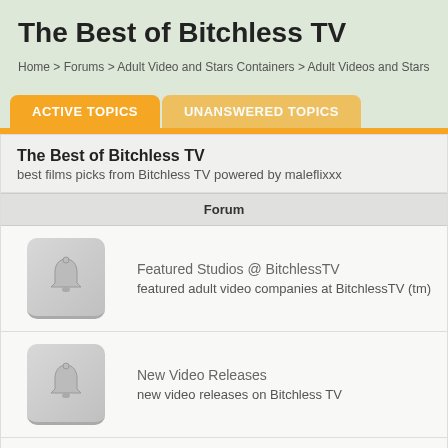The Best of Bitchless TV
Home > Forums > Adult Video and Stars Containers > Adult Videos and Stars
ACTIVE TOPICS
UNANSWERED TOPICS
The Best of Bitchless TV
best films picks from Bitchless TV powered by maleflixxx
| Forum |
| --- |
| Featured Studios @ BitchlessTV
featured adult video companies at BitchlessTV (tm) |
| New Video Releases
new video releases on Bitchless TV |
| Punks by FPG Entertainment
Punks with Logan Robins, RC Ryan and Albert Long |